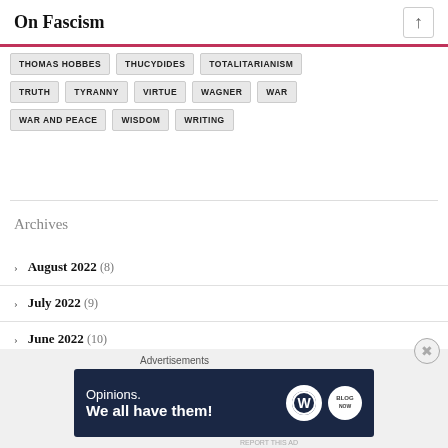On Fascism
THOMAS HOBBES
THUCYDIDES
TOTALITARIANISM
TRUTH
TYRANNY
VIRTUE
WAGNER
WAR
WAR AND PEACE
WISDOM
WRITING
Archives
August 2022 (8)
July 2022 (9)
June 2022 (10)
May 2022 (11)
[Figure (screenshot): Advertisement banner: Opinions. We all have them! with WordPress and Blog logos on dark navy background]